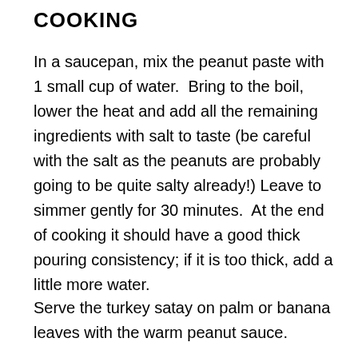COOKING
In a saucepan, mix the peanut paste with 1 small cup of water.  Bring to the boil, lower the heat and add all the remaining ingredients with salt to taste (be careful with the salt as the peanuts are probably going to be quite salty already!) Leave to simmer gently for 30 minutes.  At the end of cooking it should have a good thick pouring consistency; if it is too thick, add a little more water.
Serve the turkey satay on palm or banana leaves with the warm peanut sauce.